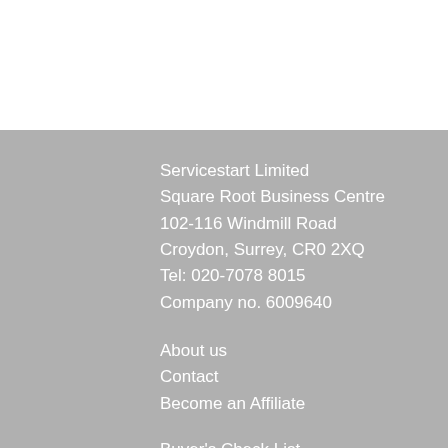Servicestart Limited
Square Root Business Centre
102-116 Windmill Road
Croydon, Surrey, CR0 2XQ
Tel: 020-7078 8015
Company no. 6009640
About us
Contact
Become an Affiliate
Buyer's Check List
FAQ
Terms & Conditions
Privacy Policy
Site Map